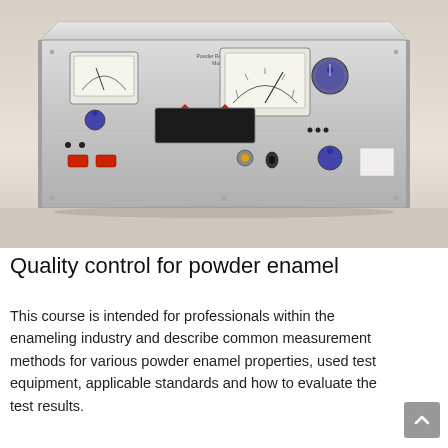[Figure (photo): A beige/grey electronic instrument — a Powder Resistivity Meter Model 482 — with analog meters, knobs, buttons, and indicator lights on its front panel, photographed against a light beige background.]
Quality control for powder enamel
This course is intended for professionals within the enameling industry and describe common measurement methods for various powder enamel properties, used test equipment, applicable standards and how to evaluate the test results.